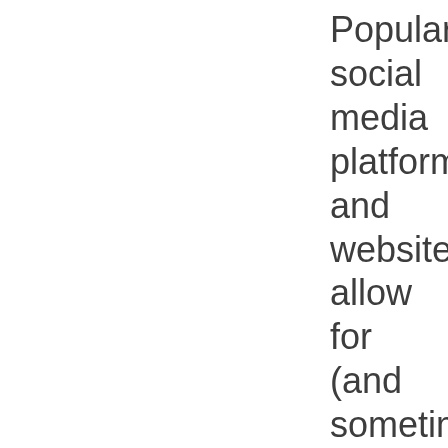Popular social media platforms and websites allow for (and sometimes require) video clips with a variety of